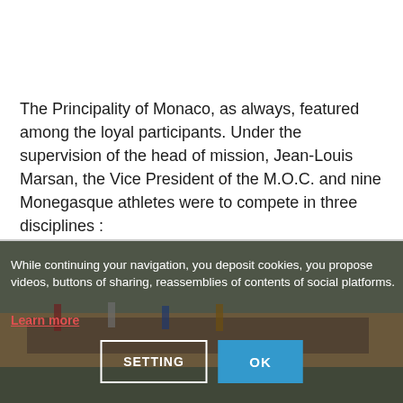The Principality of Monaco, as always, featured among the loyal participants. Under the supervision of the head of mission, Jean-Louis Marsan, the Vice President of the M.O.C. and nine Monegasque athletes were to compete in three disciplines :
[Figure (photo): Photo of an Olympic opening ceremony parade, athletes marching on a track inside a crowded stadium, with flags being carried]
While continuing your navigation, you deposit cookies, you propose videos, buttons of sharing, reassemblies of contents of social platforms.
Learn more